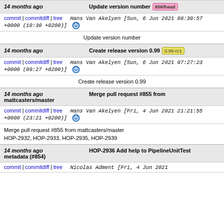14 months ago | Update version number | 856/head
commit | commitdiff | tree | Hans Van Akelyen [Sun, 6 Jun 2021 08:30:57 +0000 (10:30 +0200)]
Update version number
14 months ago | Create release version 0.99 | 0.99-rc1
commit | commitdiff | tree | Hans Van Akelyen [Sun, 6 Jun 2021 07:27:23 +0000 (09:27 +0200)]
Create release version 0.99
14 months ago mattcasters/master | Merge pull request #855 from
commit | commitdiff | tree | Hans Van Akelyen [Fri, 4 Jun 2021 21:21:55 +0000 (23:21 +0200)]
Merge pull request #855 from mattcasters/master
HOP-2932, HOP-2933, HOP-2935, HOP-2939
14 months ago metadata (#854) | HOP-2936 Add help to PipelineUnitTest
commit | commitdiff | tree | Nicolas Adment [Fri, 4 Jun 2021